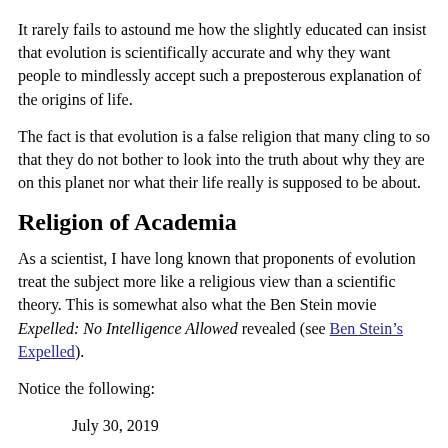It rarely fails to astound me how the slightly educated can insist that evolution is scientifically accurate and why they want people to mindlessly accept such a preposterous explanation of the origins of life.
The fact is that evolution is a false religion that many cling to so that they do not bother to look into the truth about why they are on this planet nor what their life really is supposed to be about.
Religion of Academia
As a scientist, I have long known that proponents of evolution treat the subject more like a religious view than a scientific theory. This is somewhat also what the Ben Stein movie Expelled: No Intelligence Allowed revealed (see Ben Stein's Expelled).
Notice the following:
July 30, 2019
David Gelernter, a famed Yale University professor, has publicly renounced his belief in Charles Darwin’s theory of evolution, calling it a “beautiful idea” that has been effectively disproven. ...